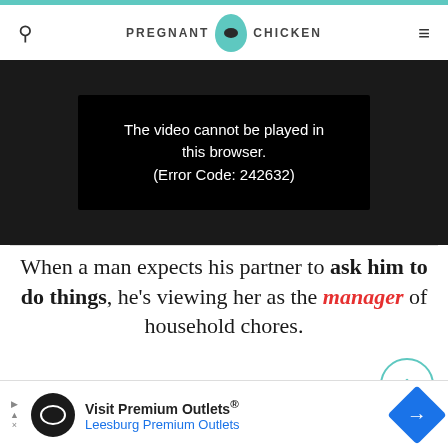PREGNANT CHICKEN
[Figure (screenshot): Video player showing error message: The video cannot be played in this browser. (Error Code: 242632)]
When a man expects his partner to ask him to do things, he's viewing her as the manager of household chores.
[Figure (illustration): Cartoon illustration of a woman with blonde hair and a speech bubble annotation reading «Household management» Project Leader]
Visit Premium Outlets® Leesburg Premium Outlets